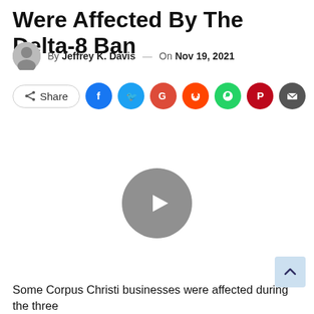Were Affected By The Delta-8 Ban
By Jeffrey K. Davis — On Nov 19, 2021
[Figure (other): Social share buttons row: Share button, Facebook, Twitter, Google, Reddit, WhatsApp, Pinterest, Email]
[Figure (other): Video play button (gray circle with white triangle/play icon)]
Some Corpus Christi businesses were affected during the three